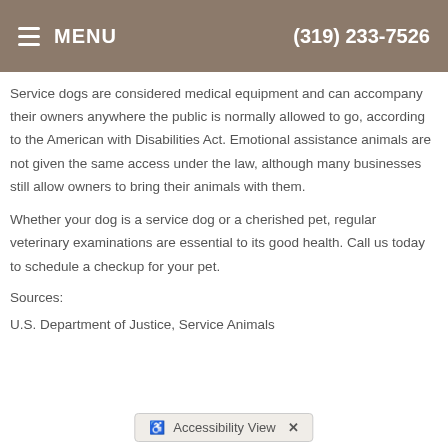MENU  (319) 233-7526
Service dogs are considered medical equipment and can accompany their owners anywhere the public is normally allowed to go, according to the American with Disabilities Act. Emotional assistance animals are not given the same access under the law, although many businesses still allow owners to bring their animals with them.
Whether your dog is a service dog or a cherished pet, regular veterinary examinations are essential to its good health. Call us today to schedule a checkup for your pet.
Sources:
U.S. Department of Justice, Service Animals